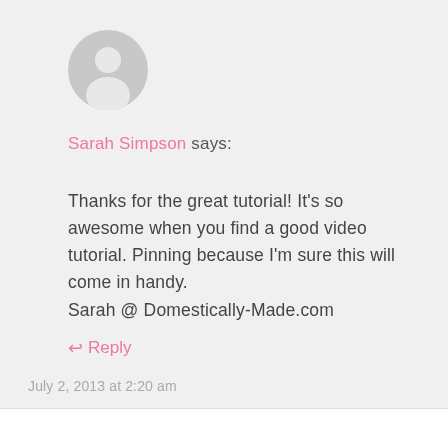[Figure (illustration): Generic user avatar icon — grey circle with person silhouette]
Sarah Simpson says:
Thanks for the great tutorial! It's so awesome when you find a good video tutorial. Pinning because I'm sure this will come in handy.
Sarah @ Domestically-Made.com
↩ Reply
July 2, 2013 at 2:20 am